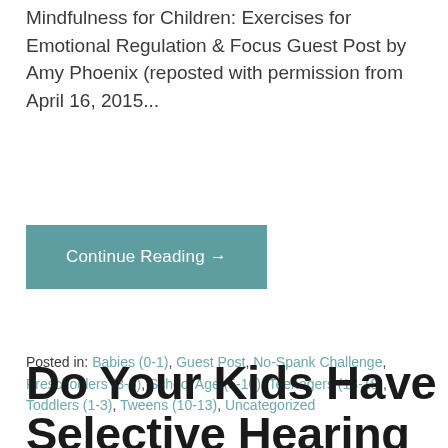Mindfulness for Children: Exercises for Emotional Regulation & Focus Guest Post by Amy Phoenix (reposted with permission from April 16, 2015...
Continue Reading →
Posted in: Babies (0-1), Guest Post, No-Spank Challenge, Preschoolers (3-5), School Age (5-10), Teenagers (13-18), Toddlers (1-3), Tweens (10-13), Uncategorized
Do Your Kids Have Selective Hearing